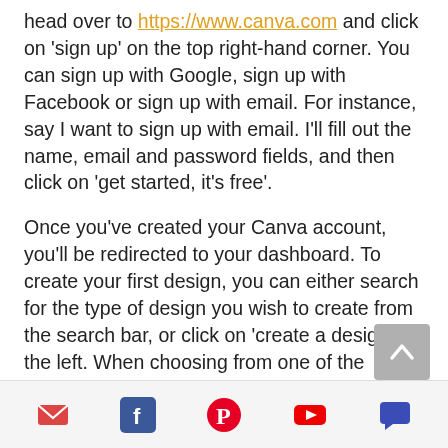head over to https://www.canva.com and click on 'sign up' on the top right-hand corner. You can sign up with Google, sign up with Facebook or sign up with email. For instance, say I want to sign up with email. I'll fill out the name, email and password fields, and then click on 'get started, it's free'.
Once you've created your Canva account, you'll be redirected to your dashboard. To create your first design, you can either search for the type of design you wish to create from the search bar, or click on 'create a design' on the left. When choosing from one of the options Canva populates, you'll
Email | Facebook | Pinterest | YouTube | Chat